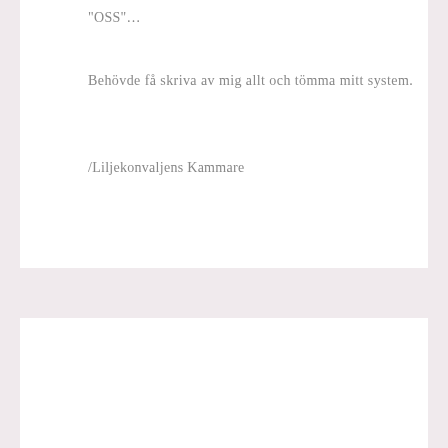"OSS"…
Behövde få skriva av mig allt och tömma mitt system.
/Liljekonvaljens Kammare
ENGLISH
This is why I've been so quiet...
Publicerad den 2022-05-24
Then it was time to update a little on what happens in life .. Had it turbulent in private life. Was on sick leave at 100%